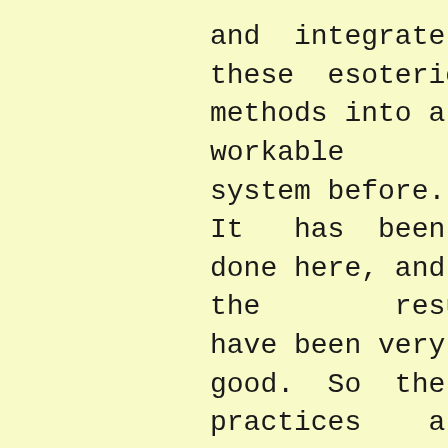and integrate these esoteric methods into a workable system before. It has been done here, and the results have been very good. So the practices are offered openly for wise seekers to explore for themselves. It is an inter-traditional scientific investigation that has been